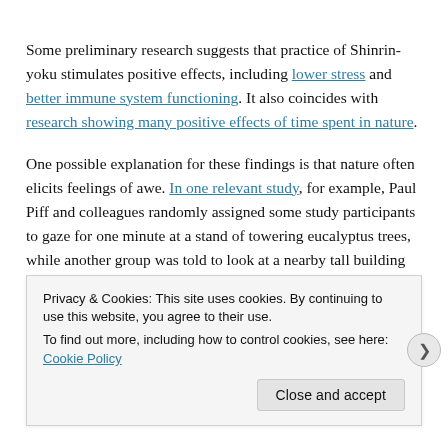Some preliminary research suggests that practice of Shinrin-yoku stimulates positive effects, including lower stress and better immune system functioning. It also coincides with research showing many positive effects of time spent in nature.
One possible explanation for these findings is that nature often elicits feelings of awe. In one relevant study, for example, Paul Piff and colleagues randomly assigned some study participants to gaze for one minute at a stand of towering eucalyptus trees, while another group was told to look at a nearby tall building instead. Those who focused on the...
Privacy & Cookies: This site uses cookies. By continuing to use this website, you agree to their use.
To find out more, including how to control cookies, see here: Cookie Policy